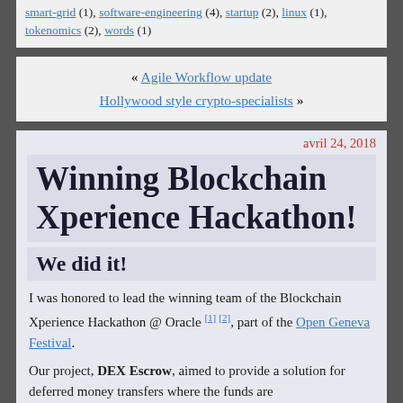smart-grid (1), software-engineering (4), startup (2), linux (1), tokenomics (2), words (1)
« Agile Workflow update
Hollywood style crypto-specialists »
avril 24, 2018
Winning Blockchain Xperience Hackathon!
We did it!
I was honored to lead the winning team of the Blockchain Xperience Hackathon @ Oracle [1] [2], part of the Open Geneva Festival.
Our project, DEX Escrow, aimed to provide a solution for deferred money transfers where the funds are locked during a certain period, an escrow pattern.